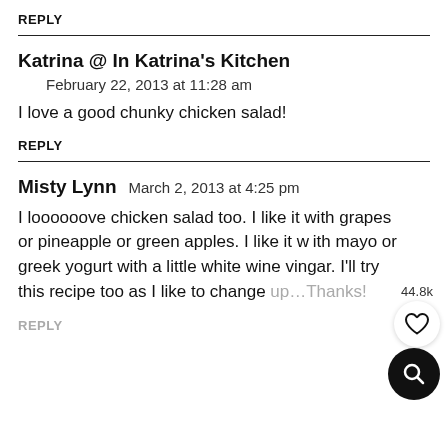REPLY
Katrina @ In Katrina's Kitchen
February 22, 2013 at 11:28 am
I love a good chunky chicken salad!
REPLY
Misty Lynn   March 2, 2013 at 4:25 pm
I loooooove chicken salad too. I like it with grapes or pineapple or green apples. I like it with mayo or greek yogurt with a little white wine vingar. I'll try this recipe too as I like to change up…Thanks!
REPLY